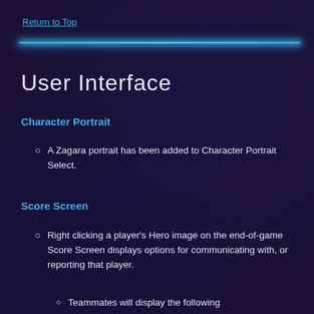Return to Top
User Interface
Character Portrait
A Zagara portrait has been added to Character Portrait Select.
Score Screen
Right clicking a player's Hero image on the end-of-game Score Screen displays options for communicating with, or reporting that player.
Teammates will display the following